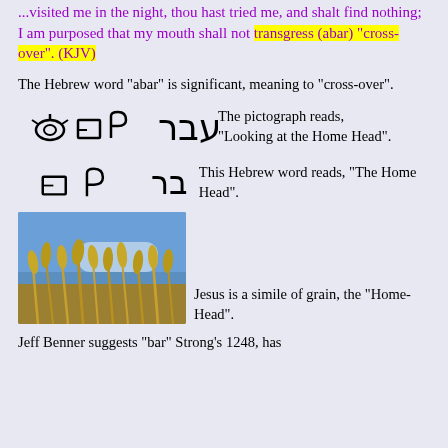...visited me in the night, thou hast tried me, and shalt find nothing; I am purposed that my mouth shall not transgress (abar) "cross-over". (KJV)
The Hebrew word "abar" is significant, meaning to "cross-over".
[Figure (illustration): Hebrew pictograph characters and modern Hebrew letters for 'abar' with the text: The pictograph reads, "Looking at the Home Head".]
[Figure (illustration): Hebrew pictograph characters for 'bar' with the text: This Hebrew word reads, "The Home Head".]
[Figure (photo): Photo of grain stalks (wheat/barley) against a blue sky, with the text: Jesus is a simile of grain, the "Home-Head".]
Jeff Benner suggests "bar" Strong's 1248, has